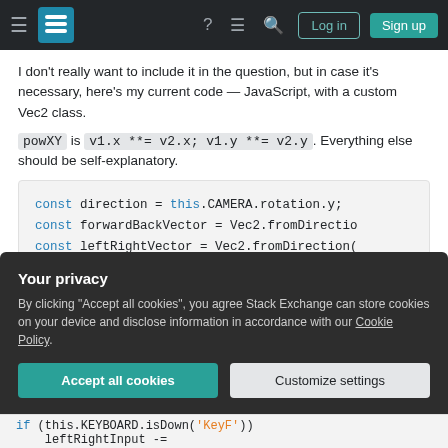Stack Exchange navigation bar with Log in and Sign up buttons
I don't really want to include it in the question, but in case it's necessary, here's my current code — JavaScript, with a custom Vec2 class.
powXY is v1.x **= v2.x; v1.y **= v2.y. Everything else should be self-explanatory.
[Figure (screenshot): Code block showing JavaScript: const direction = this.CAMERA.rotation.y; const forwardBackVector = Vec2.fromDirectio... const leftRightVector = Vec2.fromDirection(... let forwardBackInput = 0; let leftRightInput = 0;]
Your privacy
By clicking "Accept all cookies", you agree Stack Exchange can store cookies on your device and disclose information in accordance with our Cookie Policy.
Accept all cookies  Customize settings